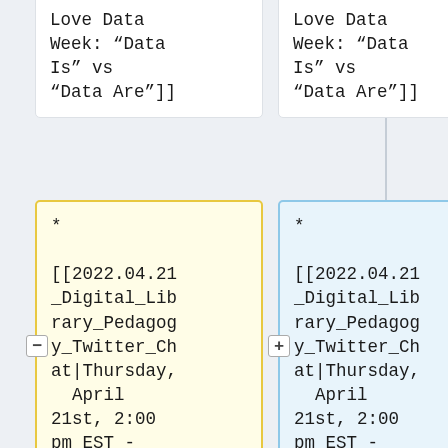Love Data Week: “Data Is” vs “Data Are”]]
Love Data Week: “Data Is” vs “Data Are”]]
* [[2022.04.21_Digital_Library_Pedagogy_Twitter_Chat|Thursday, April 21st, 2:00 pm EST - TBA]]
* [[2022.04.21_Digital_Library_Pedagogy_Twitter_Chat|Thursday, April 21st, 2:00 pm EST - Teaching Digital Exhibits]]
* [[2022.06.16_Digital_Library_Pedagogy_Twitter_Ch
* [[2022.06.16_Digital_Library_Pedagogy_Twitter_Ch